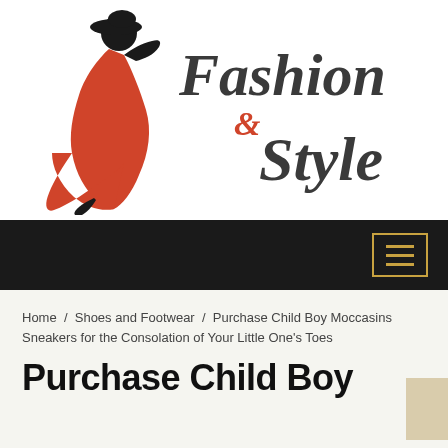[Figure (logo): Fashion & Style logo with red woman in dress silhouette and stylized script text]
Navigation bar with hamburger menu button
Home / Shoes and Footwear / Purchase Child Boy Moccasins Sneakers for the Consolation of Your Little One's Toes
Purchase Child Boy